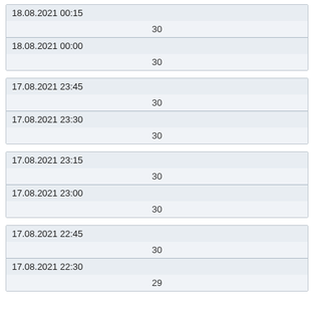| 18.08.2021 00:15 |  |
|  | 30 |
| 18.08.2021 00:00 |  |
|  | 30 |
| 17.08.2021 23:45 |  |
|  | 30 |
| 17.08.2021 23:30 |  |
|  | 30 |
| 17.08.2021 23:15 |  |
|  | 30 |
| 17.08.2021 23:00 |  |
|  | 30 |
| 17.08.2021 22:45 |  |
|  | 30 |
| 17.08.2021 22:30 |  |
|  | 29 |